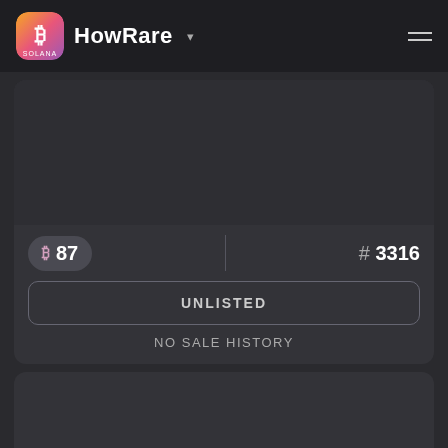HowRare
[Figure (screenshot): NFT card showing rarity score 87 and token #3316 with UNLISTED status and NO SALE HISTORY]
₿ 87
# 3316
UNLISTED
NO SALE HISTORY
[Figure (screenshot): Second NFT card area, mostly dark/empty]